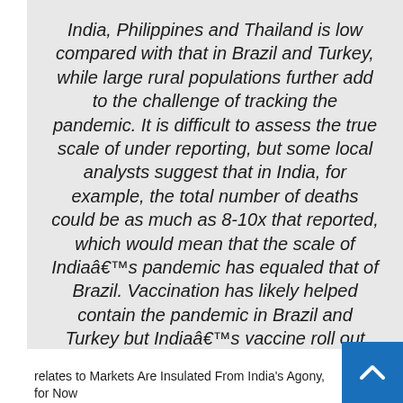India, Philippines and Thailand is low compared with that in Brazil and Turkey, while large rural populations further add to the challenge of tracking the pandemic. It is difficult to assess the true scale of under reporting, but some local analysts suggest that in India, for example, the total number of deaths could be as much as 8-10x that reported, which would mean that the scale of Indiaâ€™s pandemic has equaled that of Brazil. Vaccination has likely helped contain the pandemic in Brazil and Turkey but Indiaâ€™s vaccine roll out has recently slowed in the face of supply shortages. Imports of doses and raw materials from the US, Russia and elsewhere should help overcome recent constraints
[Figure (other): Thumbnail image relating to article 'Markets Are Insulated From India's Agony, for Now' with scroll-to-top button in blue]